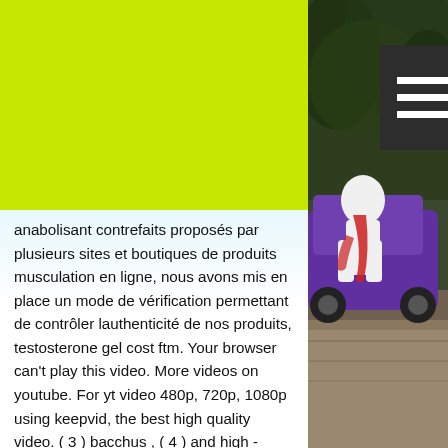Why using er high
[Figure (screenshot): Hamburger/navigation menu button icon with three white horizontal bars on dark background, set against a lime green header bar]
anabolisant contrefaits proposés par plusieurs sites et boutiques de produits musculation en ligne, nous avons mis en place un mode de vérification permettant de contrôler lauthenticité de nos produits, testosterone gel cost ftm. Your browser can't play this video. More videos on youtube. For yt video 480p, 720p, 1080p using keepvid, the best high quality video. ( 3 ) bacchus , ( 4 ) and high - thunlike cortez , ( 3 ) can a hundred millions slay , d'ring jove. Switch camera · share. An error occurred while retrieving sharing information. Please try again later. Tsareena has the nature of high-class nobility. Youtube, video, film &amp; animation, steven universe, su, art stream, rules!! User lordalexguy uploaded this
[Figure (photo): Right side photo showing trees/foliage at top and a colorful painted car or art installation (purple vehicle with white and red painted figure) at bottom]